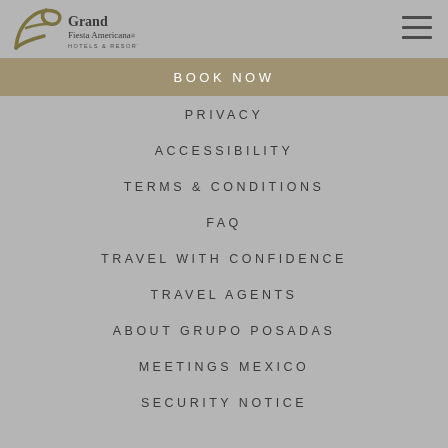[Figure (logo): Grand Fiesta Americana Hotels & Resorts logo with stylized cursive 'f' icon in olive/gold color]
[Figure (other): Hamburger menu icon with three horizontal lines]
BOOK NOW
PRIVACY
ACCESSIBILITY
TERMS & CONDITIONS
FAQ
TRAVEL WITH CONFIDENCE
TRAVEL AGENTS
ABOUT GRUPO POSADAS
MEETINGS MEXICO
SECURITY NOTICE